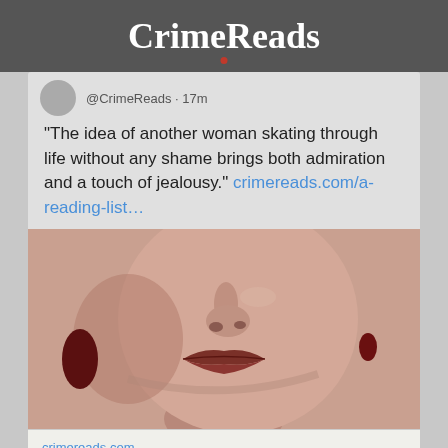CrimeReads
@CrimeReads · 17m
"The idea of another woman skating through life without any shame brings both admiration and a touch of jealousy." crimereads.com/a-reading-list…
[Figure (photo): Close-up of a woman's face with dark red lipstick and a red drop earring, in a reddish-brown tone]
crimereads.com
A Reading List of Psychopathic Women
♡ 7